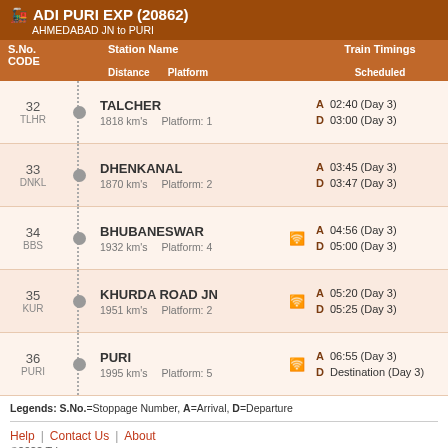ADI PURI EXP (20862) — AHMEDABAD JN to PURI
| S.No. CODE | Station Name / Distance / Platform | Train Timings Scheduled |
| --- | --- | --- |
| 32 TLHR | TALCHER | 1818 km's | Platform: 1 | A 02:40 (Day 3) | D 03:00 (Day 3) |
| 33 DNKL | DHENKANAL | 1870 km's | Platform: 2 | A 03:45 (Day 3) | D 03:47 (Day 3) |
| 34 BBS | BHUBANESWAR | 1932 km's | Platform: 4 | A 04:56 (Day 3) | D 05:00 (Day 3) |
| 35 KUR | KHURDA ROAD JN | 1951 km's | Platform: 2 | A 05:20 (Day 3) | D 05:25 (Day 3) |
| 36 PURI | PURI | 1995 km's | Platform: 5 | A 06:55 (Day 3) | D Destination (Day 3) |
Legends: S.No.=Stoppage Number, A=Arrival, D=Departure
Help | Contact Us | About
©2022 Trippozo.